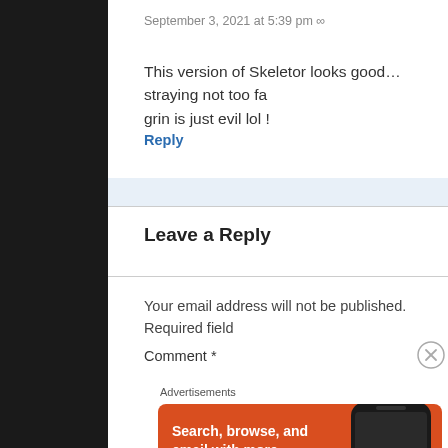September 3, 2021 at 5:39 pm ∞
This version of Skeletor looks good…straying not too fa grin is just evil lol !
Reply
Leave a Reply
Your email address will not be published. Required field
Comment *
Advertisements
[Figure (infographic): DuckDuckGo advertisement banner with orange background. Text: 'Search, browse, and email with more privacy. All in One Free App' with DuckDuckGo logo and phone mockup.]